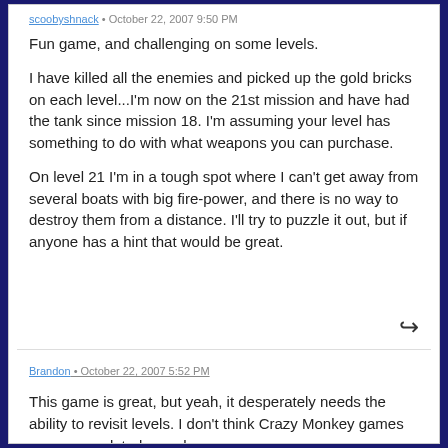scoobyshnack • October 22, 2007 9:50 PM
Fun game, and challenging on some levels.
I have killed all the enemies and picked up the gold bricks on each level...I'm now on the 21st mission and have had the tank since mission 18. I'm assuming your level has something to do with what weapons you can purchase.
On level 21 I'm in a tough spot where I can't get away from several boats with big fire-power, and there is no way to destroy them from a distance. I'll try to puzzle it out, but if anyone has a hint that would be great.
Brandon • October 22, 2007 5:52 PM
This game is great, but yeah, it desperately needs the ability to revisit levels. I don't think Crazy Monkey games are ever updated, so, oh